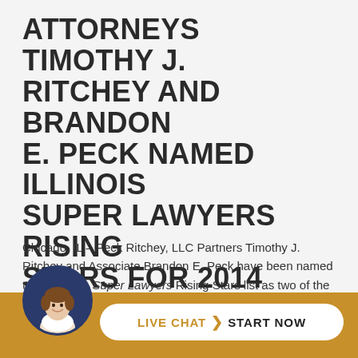ATTORNEYS TIMOTHY J. RITCHEY AND BRANDON E. PECK NAMED ILLINOIS SUPER LAWYERS RISING STARS FOR 2014
Chicago, IL – Peck Ritchey, LLC Partners Timothy J. Ritchey and Associate Brandon E. Peck have been named to the Illinois Super Lawyers Rising Stars list as two of the top attorneys in Illinois for 2014 in Estate and Trust Litigation. Each year, no more than 2.5 percent of lawyers in the state receive this honor. This selection for this respected list is made by the research team at Super Lawye...
[Figure (photo): Circular avatar photo of a woman with brown hair smiling, set against a dark navy blue background, positioned at the bottom left above a gold/amber bar. Overlapping live chat button.]